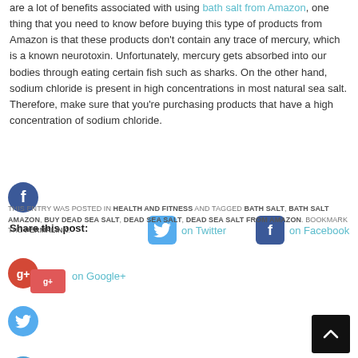are a lot of benefits associated with using bath salt from Amazon, one thing that you need to know before buying this type of products from Amazon is that these products don't contain any trace of mercury, which is a known neurotoxin. Unfortunately, mercury gets absorbed into our bodies through eating certain fish such as sharks. On the other hand, sodium chloride is present in high concentrations in most natural sea salt. Therefore, make sure that you're purchasing products that have a high concentration of sodium chloride.
[Figure (infographic): Social sharing buttons: Facebook circle icon, Share this post label, Twitter button, Facebook button, Google+ circle icon with red overlay, Google+ text link, Twitter circle icon, Plus circle icon]
THIS ENTRY WAS POSTED IN HEALTH AND FITNESS AND TAGGED BATH SALT, BATH SALT AMAZON, BUY DEAD SEA SALT, DEAD SEA SALT, DEAD SEA SALT FROM AMAZON. BOOKMARK THE PERMALINK.